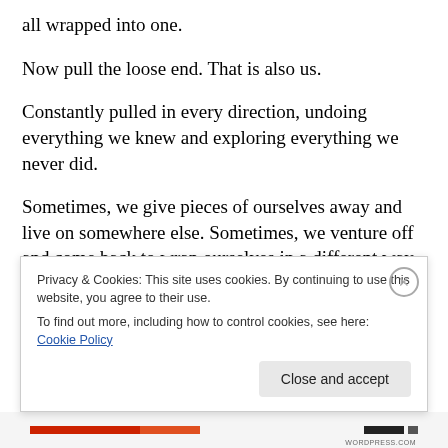all wrapped into one.
Now pull the loose end. That is also us.
Constantly pulled in every direction, undoing everything we knew and exploring everything we never did.
Sometimes, we give pieces of ourselves away and live on somewhere else. Sometimes, we venture off and come back to wrap ourselves in a different way.
And sometimes, we are a ball of yarn that gets kicked
Privacy & Cookies: This site uses cookies. By continuing to use this website, you agree to their use.
To find out more, including how to control cookies, see here: Cookie Policy
Close and accept